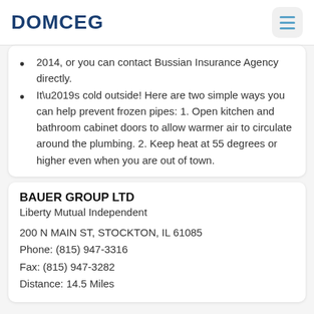DOMCEG
2014, or you can contact Bussian Insurance Agency directly.
It’s cold outside! Here are two simple ways you can help prevent frozen pipes: 1. Open kitchen and bathroom cabinet doors to allow warmer air to circulate around the plumbing. 2. Keep heat at 55 degrees or higher even when you are out of town.
BAUER GROUP LTD
Liberty Mutual Independent
200 N MAIN ST, STOCKTON, IL 61085
Phone: (815) 947-3316
Fax: (815) 947-3282
Distance: 14.5 Miles